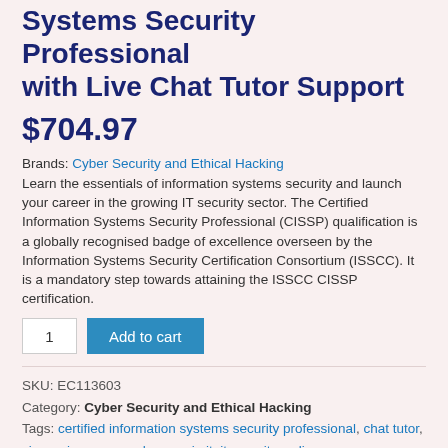Systems Security Professional with Live Chat Tutor Support
$704.97
Brands: Cyber Security and Ethical Hacking
Learn the essentials of information systems security and launch your career in the growing IT security sector. The Certified Information Systems Security Professional (CISSP) qualification is a globally recognised badge of excellence overseen by the Information Systems Security Certification Consortium (ISSCC). It is a mandatory step towards attaining the ISSCC CISSP certification.
1  Add to cart
SKU: EC113603
Category: Cyber Security and Ethical Hacking
Tags: certified information systems security professional, chat tutor, cissp, cissp course, human, in it, it security, online course,